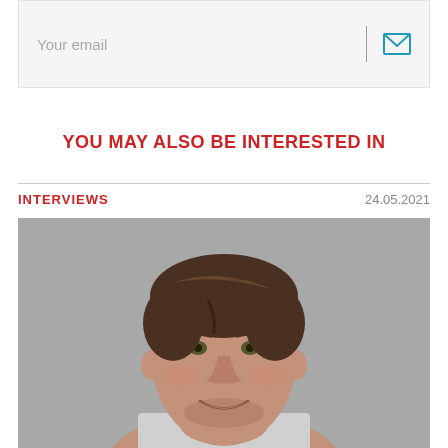[Figure (other): Email input field with placeholder text 'Your email' and an envelope icon on the right separated by a vertical divider line]
YOU MAY ALSO BE INTERESTED IN
INTERVIEWS   24.05.2021
[Figure (photo): Professional headshot photo of a smiling middle-aged man with brown hair against a grey background]